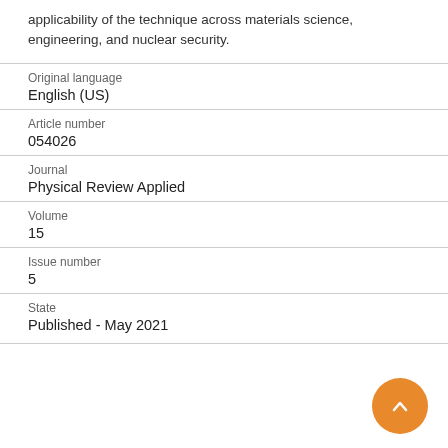applicability of the technique across materials science, engineering, and nuclear security.
| Original language | English (US) |
| Article number | 054026 |
| Journal | Physical Review Applied |
| Volume | 15 |
| Issue number | 5 |
| State | Published - May 2021 |